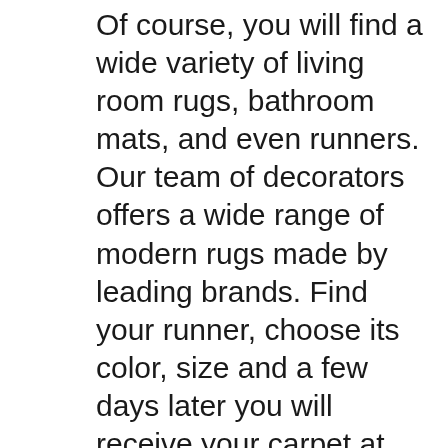Of course, you will find a wide variety of living room rugs, bathroom mats, and even runners. Our team of decorators offers a wide range of modern rugs made by leading brands. Find your runner, choose its color, size and a few days later you will receive your carpet at home. Are you still hesitating? We are super nice and we offer you delivery from purchase.  Our modern carpets are at the best price all year round. Most of our carpets are labeled and we are committed to providing you with the best value for money. This is the essential element of the living room or any cozy area. Unrolling a yoga rug before a session is a symbol, a ritual, and a pleasure. It is important to choose a mat as many models of different sizes, materials and qualities are in stock. Not to mention the price. We make it easier for you. We present you a high-quality rug and a model with a very good value for money.